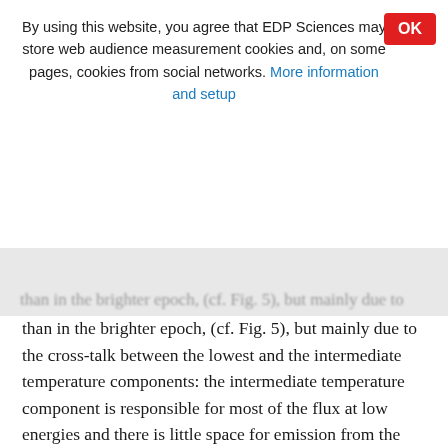By using this website, you agree that EDP Sciences may store web audience measurement cookies and, on some pages, cookies from social networks. More information and setup
than in the brighter epoch, (cf. Fig. 5), but mainly due to the cross-talk between the lowest and the intermediate temperature components: the intermediate temperature component is responsible for most of the flux at low energies and there is little space for emission from the low temperature component except for isolated lines like O VII. Allowing the fit to vary the temperatures freely between the epochs changes EM1/EM2 from 1:13 to 1:2, which is more in line with the RGS spectrum